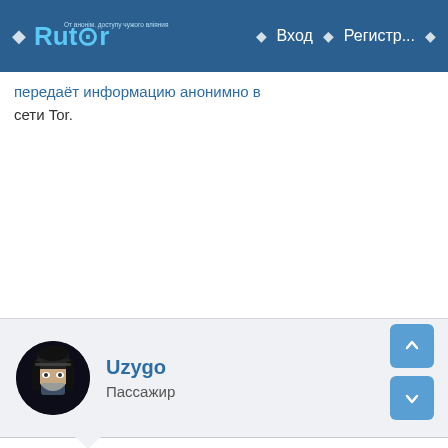Rutor — Вход — Регистр...
...передаёт информацию анонимно в сети Tor.
Uzygo
Пассажир
28/05/2022   #2